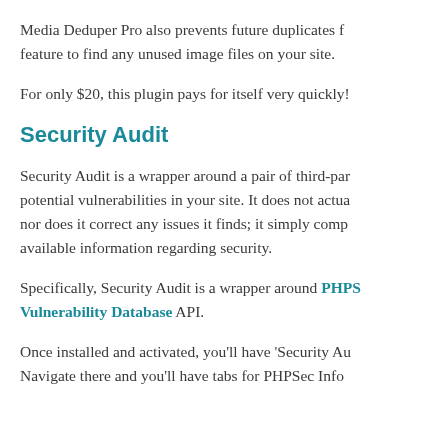Media Deduper Pro also prevents future duplicates f… feature to find any unused image files on your site.
For only $20, this plugin pays for itself very quickly!
Security Audit
Security Audit is a wrapper around a pair of third-par… potential vulnerabilities in your site. It does not actua… nor does it correct any issues it finds; it simply comp… available information regarding security.
Specifically, Security Audit is a wrapper around PHPS… Vulnerability Database API.
Once installed and activated, you'll have 'Security Au… Navigate there and you'll have tabs for PHPSec Info…